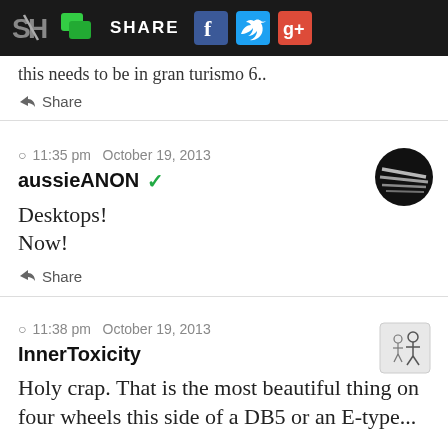[Figure (screenshot): Social sharing navigation bar with SH logo, green chat icon, SHARE text, Facebook, Twitter, and Google+ icons]
this needs to be in gran turismo 6..
Share
11:35 pm  October 19, 2013
aussieANON ✓
Desktops!
Now!
Share
11:38 pm  October 19, 2013
InnerToxicity
Holy crap. That is the most beautiful thing on four wheels this side of a DB5 or an E-type...